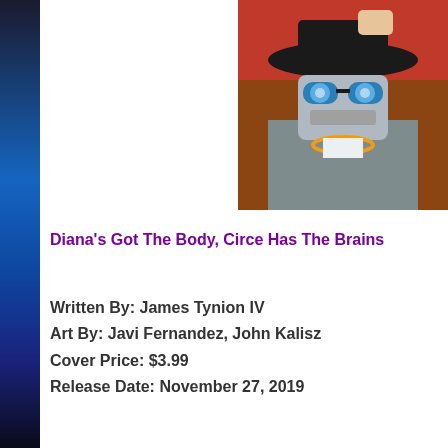[Figure (illustration): Comic book illustration showing a character wearing a wide-brimmed hat with blue goggles/glasses, a metallic face covering, gold chain necklace, and gray jacket, with a red-cloaked figure visible behind them]
Diana's Got The Body, Circe Has The Brains
Written By: James Tynion IV
Art By: Javi Fernandez, John Kalisz
Cover Price: $3.99
Release Date: November 27, 2019